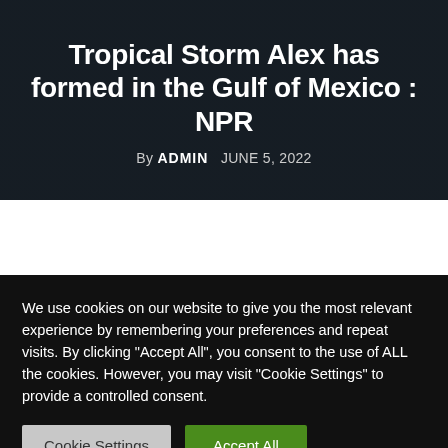Tropical Storm Alex has formed in the Gulf of Mexico : NPR
By ADMIN   JUNE 5, 2022
We use cookies on our website to give you the most relevant experience by remembering your preferences and repeat visits. By clicking "Accept All", you consent to the use of ALL the cookies. However, you may visit "Cookie Settings" to provide a controlled consent.
Cookie Settings   Accept All